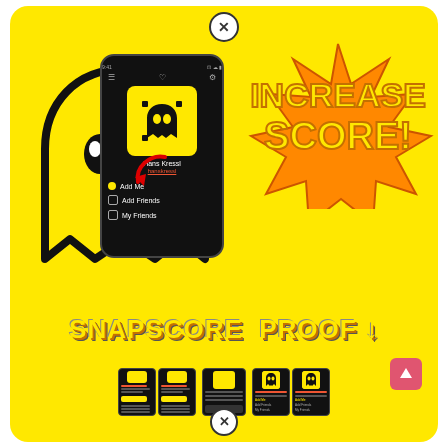[Figure (screenshot): Snapchat app screenshot showing a user profile with Snapcode QR code, username, Add Me button, Add Friends and My Friends options, with a Snapchat ghost logo in the background. Text reads INCREASE SCORE! in bold yellow comic-style lettering with starburst effect.]
SNAPSCORE PROOF ↓
[Figure (screenshot): Multiple Snapchat app screenshots showing proof of Snapscore increases, with various user profiles displayed side by side.]